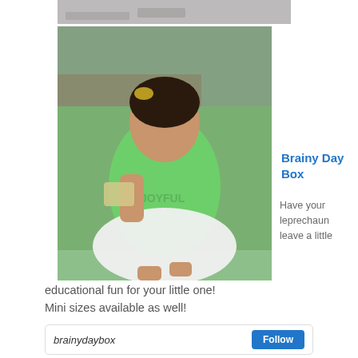[Figure (photo): Partial photo strip at top showing a grey couch background]
[Figure (photo): A young girl wearing a green 'JOYFUL' long-sleeve shirt and white tutu skirt, sitting on a green couch holding a small bag, with a gold bow in her braided hair]
Brainy Day Box
Have your leprechaun leave a little educational fun for your little one! Mini sizes available as well!
brainydaybox